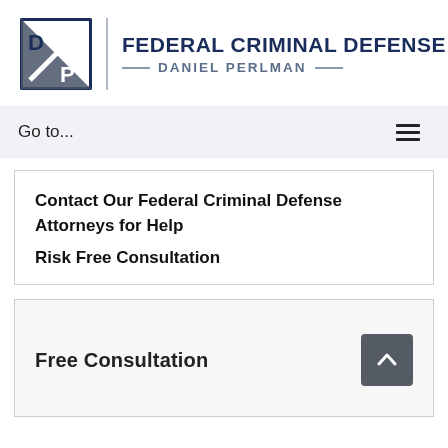[Figure (logo): Federal Criminal Defense Daniel Perlman law firm logo with DP initials in a square emblem and firm name text]
Go to...
Contact Our Federal Criminal Defense Attorneys for Help
Risk Free Consultation
Free Consultation